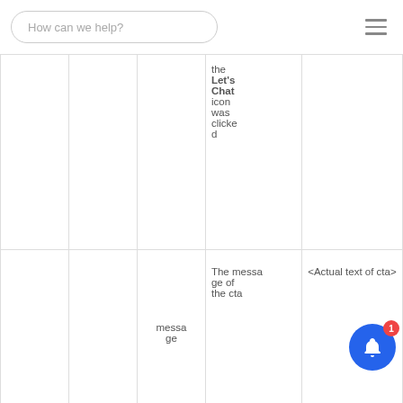How can we help?
|  |  |  |  |  |
| --- | --- | --- | --- | --- |
|  |  |  | the Let's Chat icon was clicked |  |
|  |  | message | The message of the cta | <Actual text of cta> |
|  |  |  |  |  |